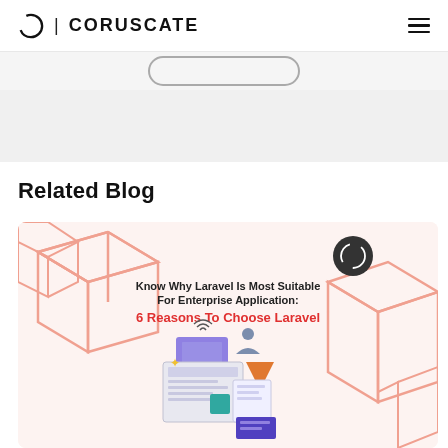CORUSCATE
[Figure (screenshot): Coruscate website screenshot showing 'Related Blog' section with a blog post thumbnail about '6 Reasons To Choose Laravel']
Related Blog
[Figure (illustration): Blog thumbnail image with text: 'Know Why Laravel Is Most Suitable For Enterprise Application: 6 Reasons To Choose Laravel' with colorful tech graphics and Coruscate logo]